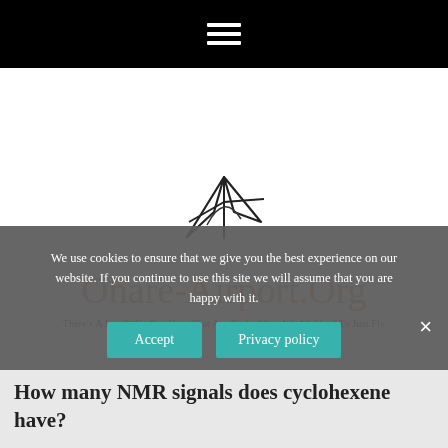[Figure (logo): Ohare-Airport.Org logo with stylized bird/arrow SVG graphic and tagline: There's A Lot Of Us Out Here That Are Birds, Man. We All Need To Just Fly]
We use cookies to ensure that we give you the best experience on our website. If you continue to use this site we will assume that you are happy with it.
How many NMR signals does cyclohexene have?